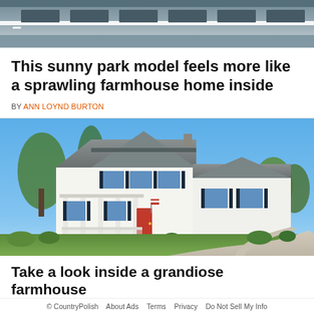[Figure (photo): Top partial image of what appears to be a vehicle or trailer, showing metallic/grey surfaces with a white horizontal bar]
This sunny park model feels more like a sprawling farmhouse home inside
BY ANN LOYND BURTON
[Figure (photo): A large white farmhouse-style home with a wrap-around porch, dark shutters on windows, red front door, grey roof, surrounded by green lawn and trees under a bright blue sky, with a curved driveway]
Take a look inside a grandiose farmhouse
© CountryPolish   About Ads   Terms   Privacy   Do Not Sell My Info